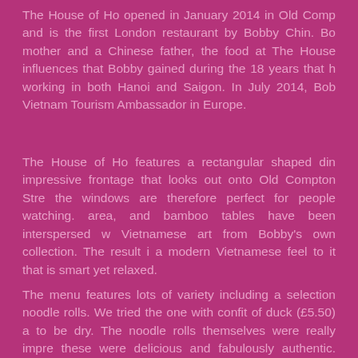The House of Ho opened in January 2014 in Old Comp and is the first London restaurant by Bobby Chin. Bo mother and a Chinese father, the food at The House influences that Bobby gained during the 18 years that h working in both Hanoi and Saigon. In July 2014, Bob Vietnam Tourism Ambassador in Europe.
The House of Ho features a rectangular shaped din impressive frontage that looks out onto Old Compton Stre the windows are therefore perfect for people watching. area, and bamboo tables have been interspersed w Vietnamese art from Bobby's own collection. The result i a modern Vietnamese feel to it that is smart yet relaxed.
The menu features lots of variety including a selection noodle rolls. We tried the one with confit of duck (£5.50) a to be dry. The noodle rolls themselves were really impre these were delicious and fabulously authentic. There were leaves in the roll which were really fragrant.